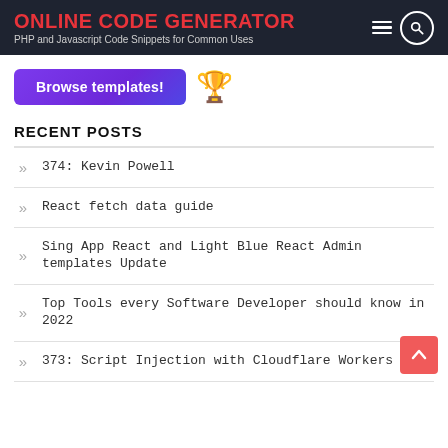ONLINE CODE GENERATOR
PHP and Javascript Code Snippets for Common Uses
[Figure (illustration): Browse templates button with trophy emoji]
RECENT POSTS
374: Kevin Powell
React fetch data guide
Sing App React and Light Blue React Admin templates Update
Top Tools every Software Developer should know in 2022
373: Script Injection with Cloudflare Workers